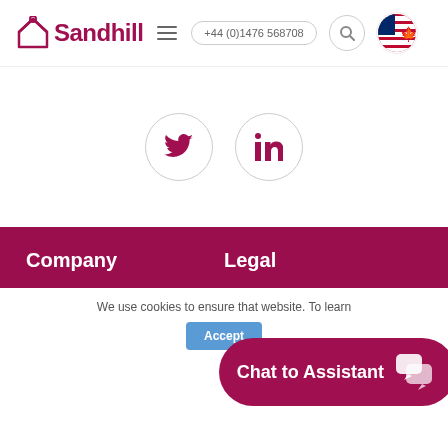Sandhill +44 (0)1476 568708
[Figure (logo): Sandhill company logo with stylized house/chevron icon in crimson and bold Sandhill text]
[Figure (illustration): Twitter bird icon in crimson inside a circle]
[Figure (illustration): LinkedIn 'in' icon in crimson inside a circle]
Company
Legal
We use cookies to ensure that website. To learn
[Figure (illustration): Chat to Assistant button with chat bubble icons]
Accept